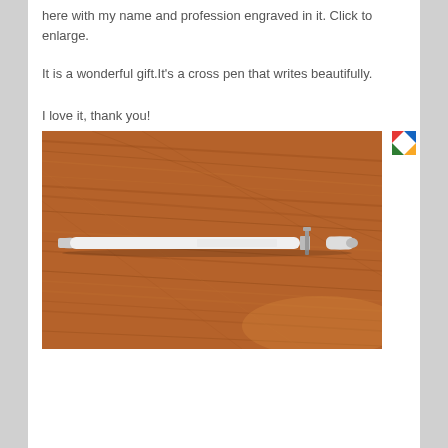here with my name and profession engraved in it. Click to enlarge.
It is a wonderful gift.It's a cross pen that writes beautifully.
I love it, thank you!
[Figure (photo): A white Cross pen with silver accents lying on a wood-grain surface (reddish-brown table). The pen has engraving visible on the barrel.]
[Figure (logo): Small colorful icon in the top-right corner of the photo area, appears to be a Google Photos or similar app logo with red, blue, green, and yellow colors.]